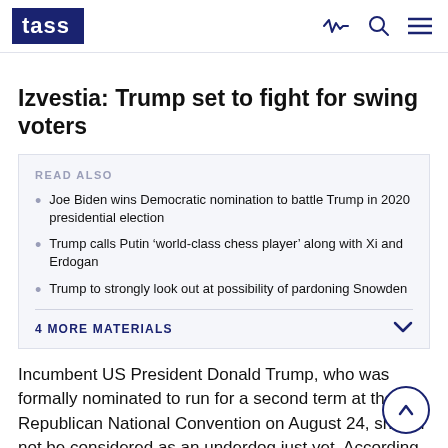TASS
Izvestia: Trump set to fight for swing voters
READ ALSO
Joe Biden wins Democratic nomination to battle Trump in 2020 presidential election
Trump calls Putin ‘world-class chess player’ along with Xi and Erdogan
Trump to strongly look out at possibility of pardoning Snowden
4 MORE MATERIALS
Incumbent US President Donald Trump, who was formally nominated to run for a second term at the Republican National Convention on August 24, should not be considered as an underdog just yet. According to